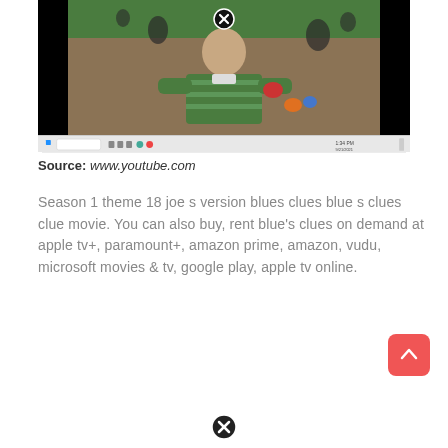[Figure (screenshot): Screenshot of a YouTube video showing a man in a green striped shirt against a colorful children's TV show backdrop, with a Windows taskbar visible at the bottom and a close (X) button overlay at the top center.]
Source: www.youtube.com
Season 1 theme 18 joe s version blues clues blue s clues clue movie. You can also buy, rent blue's clues on demand at apple tv+, paramount+, amazon prime, amazon, vudu, microsoft movies & tv, google play, apple tv online.